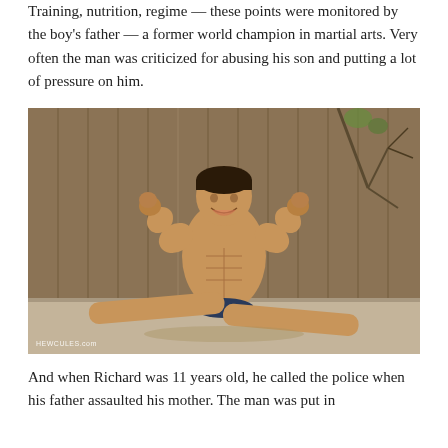Training, nutrition, regime — these points were monitored by the boy's father — a former world champion in martial arts. Very often the man was criticized for abusing his son and putting a lot of pressure on him.
[Figure (photo): A young muscular boy performing a split on a concrete surface outdoors, flexing both arms, shirtless, wearing dark shorts. Wooden fence and bare branches in background. Watermark: HEWCULES.com]
And when Richard was 11 years old, he called the police when his father assaulted his mother. The man was put in